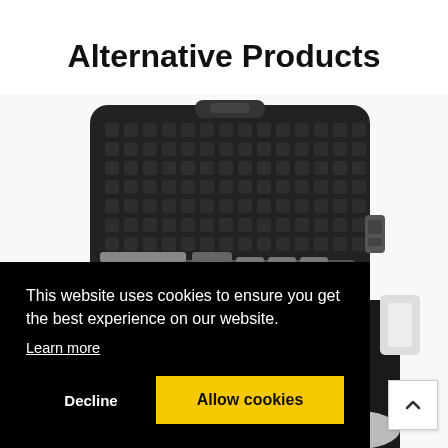Alternative Products
[Figure (photo): A black rugged protective carrying case with grid-pattern foam interior, shown open from above at an angle, with accessories visible at the bottom edge]
This website uses cookies to ensure you get the best experience on our website.
Learn more
Decline
Allow cookies